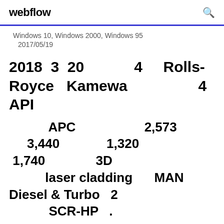webflow
Windows 10, Windows 2000, Windows 95
2017/05/19
2018  3  20              4     Rolls-Royce   Kamewa                    4  API
APC                          2,573
     3,440               1,320
1,740               3D
          laser cladding      MAN
Diesel & Turbo    2
          SCR-HP    .